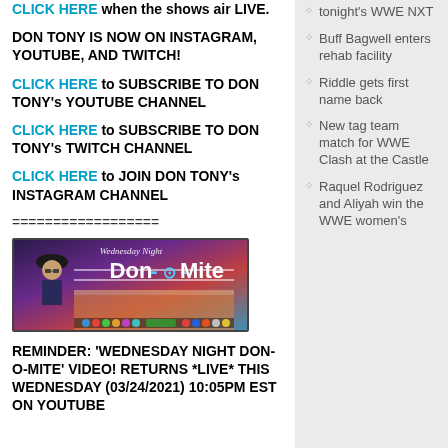CLICK HERE when the shows air LIVE.
DON TONY IS NOW ON INSTAGRAM, YOUTUBE, AND TWITCH!
CLICK HERE to SUBSCRIBE TO DON TONY's YOUTUBE CHANNEL
CLICK HERE to SUBSCRIBE TO DON TONY's TWITCH CHANNEL
CLICK HERE to JOIN DON TONY's INSTAGRAM CHANNEL
==================
[Figure (illustration): Wednesday Night Don-O-Mite banner image with cartoon character wearing a hat and sunglasses, purple and red wrestling ring background]
REMINDER: 'WEDNESDAY NIGHT DON-O-MITE' VIDEO! RETURNS *LIVE* THIS WEDNESDAY (03/24/2021) 10:05PM EST ON YOUTUBE
tonight's WWE NXT
Buff Bagwell enters rehab facility
Riddle gets first name back
New tag team match for WWE Clash at the Castle
Raquel Rodriguez and Aliyah win the WWE women's